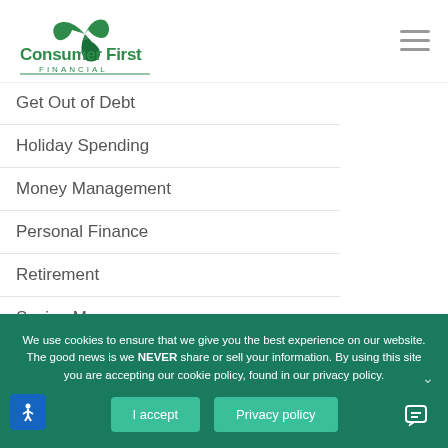[Figure (logo): Consumer First Financial logo — green triple-leaf/arrow icon above text 'Consumer First FINANCIAL']
Get Out of Debt
Holiday Spending
Money Management
Personal Finance
Retirement
Saving Money
Secured debt
We use cookies to ensure that we give you the best experience on our website. The good news is we NEVER share or sell your information. By using this site you are accepting our cookie policy, found in our privacy policy.
I accept
Privacy policy